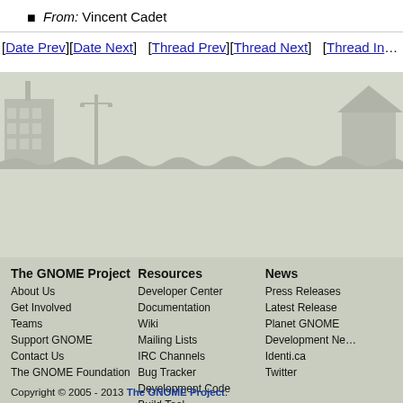From: Vincent Cadet
[Date Prev][Date Next]   [Thread Prev][Thread Next]   [Thread In…
[Figure (illustration): GNOME website footer cityscape silhouette with buildings and grass in light gray]
The GNOME Project
About Us
Get Involved
Teams
Support GNOME
Contact Us
The GNOME Foundation

Resources
Developer Center
Documentation
Wiki
Mailing Lists
IRC Channels
Bug Tracker
Development Code
Build Tool

News
Press Releases
Latest Release
Planet GNOME
Development Ne…
Identi.ca
Twitter
Copyright © 2005 - 2013 The GNOME Project.